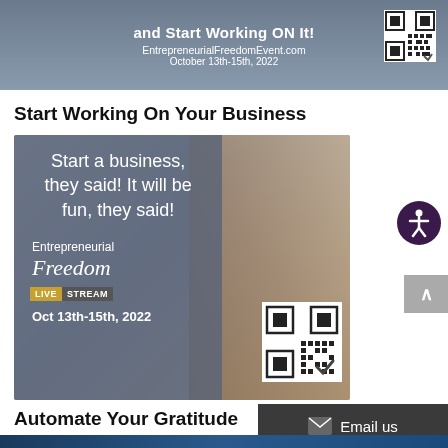[Figure (photo): Cropped top portion of an event banner for Entrepreneurial Freedom Event with text 'and Start Working ON It!', URL EntrepreneurialFreedomEvent.com, date October 13th-15th, 2022, and a QR code]
Start Working On Your Business
[Figure (photo): Promotional image for Entrepreneurial Freedom Live Stream, Oct 13th-15th 2022. Shows text overlay reading 'Start a business, they said! It will be fun, they said!' on a dark blue-grey background with a woman holding boxes in the background. Also shows 'Entrepreneurial Freedom LIVE STREAM Oct 13th-15th, 2022' and a QR code.]
Automate Your Gratitude
Email us